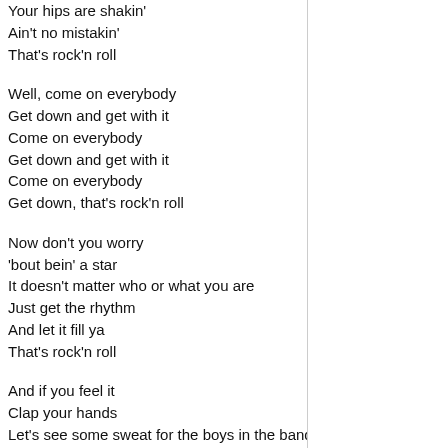Your hips are shakin'
Ain't no mistakin'
That's rock'n roll

Well, come on everybody
Get down and get with it
Come on everybody
Get down and get with it
Come on everybody
Get down, that's rock'n roll

Now don't you worry
'bout bein' a star
It doesn't matter who or what you are
Just get the rhythm
And let it fill ya
That's rock'n roll

And if you feel it
Clap your hands
Let's see some sweat for the boys in the band
Now lemme hear ya
Lemme hear ya
That's rock'n roll

(everybody) get down and get with it
Come on everybody
Get down and get with it
Come on everybody